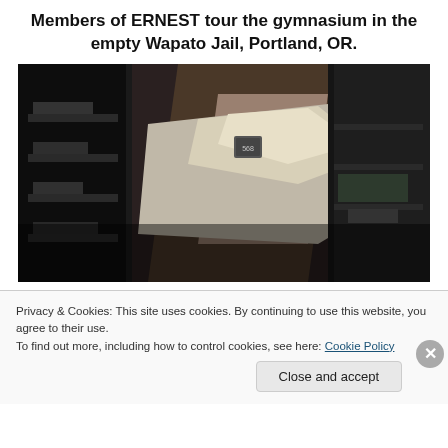Members of ERNEST tour the gymnasium in the empty Wapato Jail, Portland, OR.
[Figure (photo): Interior photograph of the empty Wapato Jail gymnasium showing bunk beds with metallic/mylar bedding in a dark room. A small numbered tag (568) is visible on one of the bunks.]
Privacy & Cookies: This site uses cookies. By continuing to use this website, you agree to their use.
To find out more, including how to control cookies, see here: Cookie Policy